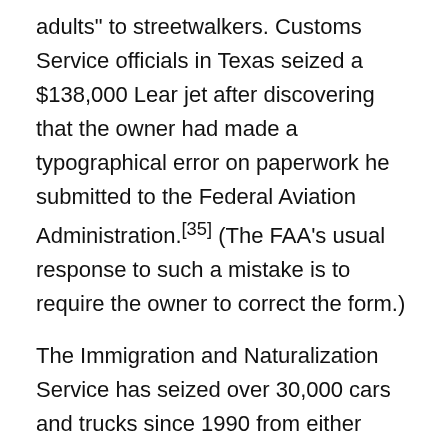adults" to streetwalkers. Customs Service officials in Texas seized a $138,000 Lear jet after discovering that the owner had made a typographical error on paperwork he submitted to the Federal Aviation Administration.[35] (The FAA's usual response to such a mistake is to require the owner to correct the form.)
The Immigration and Naturalization Service has seized over 30,000 cars and trucks since 1990 from either people helping illegal immigrants enter the United States or construction companies transporting illegal immigrants to job sites.[36] Customs agents confiscated the $113,000 that a